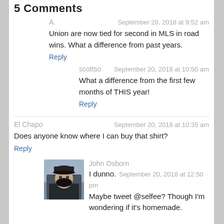5 Comments
A.   September 20, 2018 at 9:52 am
Union are now tied for second in MLS in road wins. What a difference from past years.
Reply
scottso   September 20, 2018 at 10:50 am
What a difference from the first few months of THIS year!
Reply
El Chapo   September 20, 2018 at 10:35 am
Does anyone know where I can buy that shirt?
Reply
John Osborn   I dunno.  September 20, 2018 at 12:50 pm
Maybe tweet @selfee? Though I'm wondering if it's homemade.